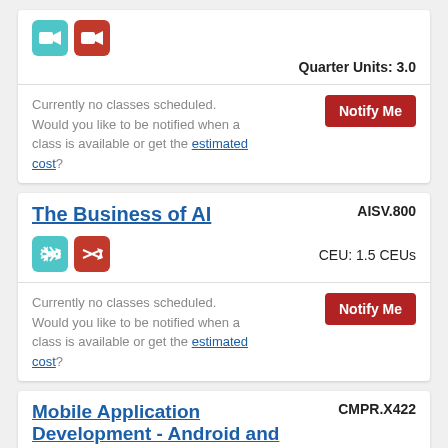[Figure (screenshot): Partial card top showing two icon buttons (teal video camera and red video camera)]
Quarter Units: 3.0
Currently no classes scheduled. Would you like to be notified when a class is available or get the estimated cost?
Notify Me
The Business of AI
AISV.800
CEU: 1.5 CEUs
Currently no classes scheduled. Would you like to be notified when a class is available or get the estimated cost?
Notify Me
Mobile Application Development - Android and iOS, Advanced
CMPR.X422